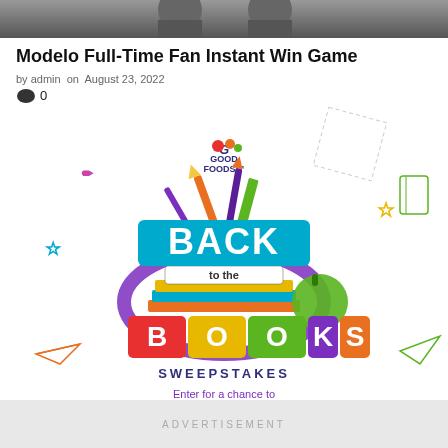[Figure (photo): Partial photo at top of page showing people, cut off at bottom]
Modelo Full-Time Fan Instant Win Game
by admin on August 23, 2022
0
[Figure (infographic): Good Foods Back to the Books Sweepstakes promotional banner. Features colorful school supplies (pencils, ruler, paintbrush), books, and bold text. Enter for a chance to WIN $200 In Prizes. One weekly winner will be chosen now until Oct 1.]
ADVERTISEMENT